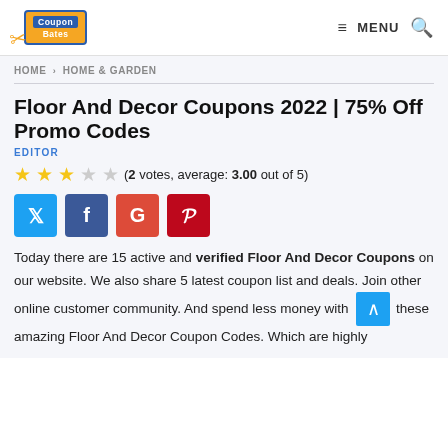[Figure (logo): CouponBates logo with scissors icon, blue and orange colors]
≡ MENU 🔍
HOME > HOME & GARDEN
Floor And Decor Coupons 2022 | 75% Off Promo Codes
EDITOR
(2 votes, average: 3.00 out of 5)
[Figure (infographic): Social share buttons: Twitter (blue), Facebook (dark blue), Google+ (red), Pinterest (dark red)]
Today there are 15 active and verified Floor And Decor Coupons on our website. We also share 5 latest coupon list and deals. Join other online customer community. And spend less money with these amazing Floor And Decor Coupon Codes. Which are highly